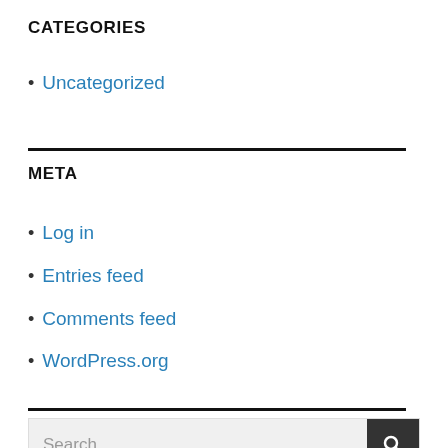CATEGORIES
Uncategorized
META
Log in
Entries feed
Comments feed
WordPress.org
Search ...